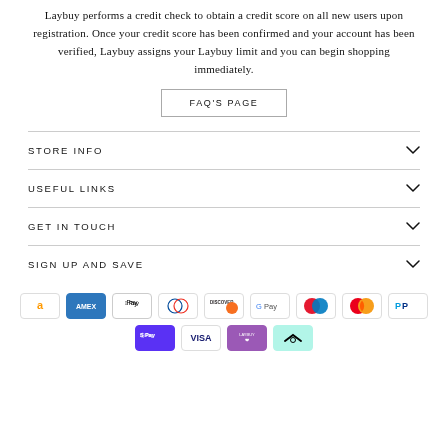Laybuy performs a credit check to obtain a credit score on all new users upon registration. Once your credit score has been confirmed and your account has been verified, Laybuy assigns your Laybuy limit and you can begin shopping immediately.
FAQ'S PAGE
STORE INFO
USEFUL LINKS
GET IN TOUCH
SIGN UP AND SAVE
[Figure (other): Payment method icons: Amazon, American Express, Apple Pay, Diners Club, Discover, Google Pay, Maestro, Mastercard, PayPal, Shop Pay, Visa, Laybuy, Afterpay]